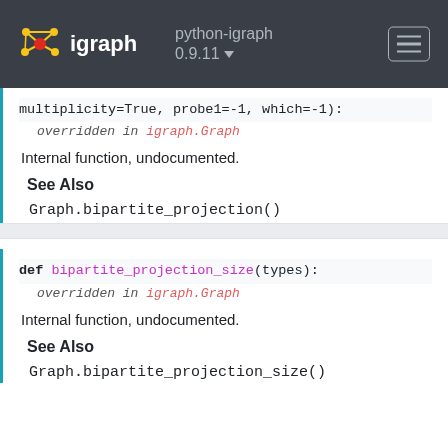python-igraph 0.9.11 | igraph
multiplicity=True, probe1=-1, which=-1):
overridden in igraph.Graph
Internal function, undocumented.
See Also
Graph.bipartite_projection()
def bipartite_projection_size(types):
overridden in igraph.Graph
Internal function, undocumented.
See Also
Graph.bipartite_projection_size()